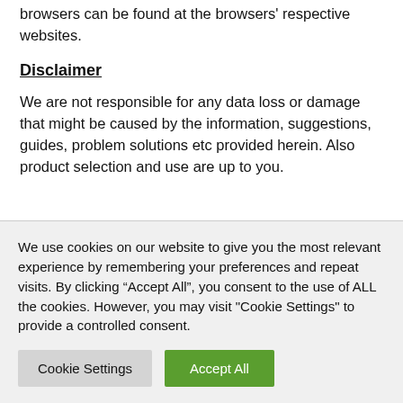browsers can be found at the browsers' respective websites.
Disclaimer
We are not responsible for any data loss or damage that might be caused by the information, suggestions, guides, problem solutions etc provided herein. Also product selection and use are up to you.
We are not responsible for the privacy policies or the content of any linked websites that you find in
We use cookies on our website to give you the most relevant experience by remembering your preferences and repeat visits. By clicking “Accept All”, you consent to the use of ALL the cookies. However, you may visit "Cookie Settings" to provide a controlled consent.